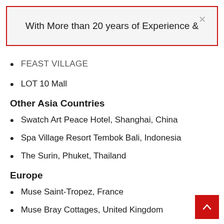With More than 20 years of Experience &
FEAST VILLAGE
LOT 10 Mall
Other Asia Countries
Swatch Art Peace Hotel, Shanghai, China
Spa Village Resort Tembok Bali, Indonesia
The Surin, Phuket, Thailand
Europe
Muse Saint-Tropez, France
Muse Bray Cottages, United Kingdom